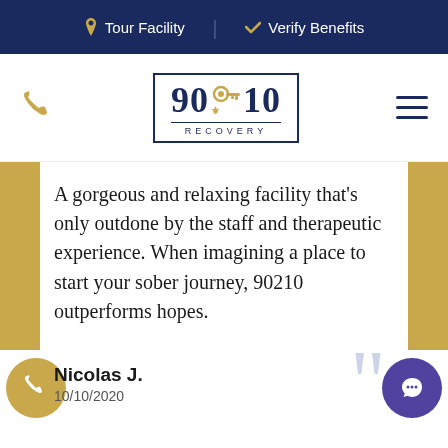Tour Facility | Verify Benefits
[Figure (logo): 90210 Recovery logo with a golden key through the numbers, in a navy blue bordered box with RECOVERY text below]
A gorgeous and relaxing facility that's only outdone by the staff and therapeutic experience. When imagining a place to start your sober journey, 90210 outperforms hopes.
Nicolas J.
10/10/2020